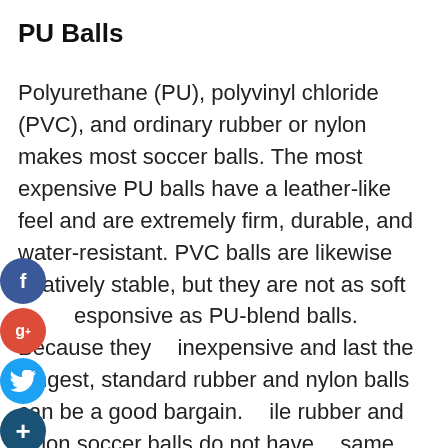PU Balls
Polyurethane (PU), polyvinyl chloride (PVC), and ordinary rubber or nylon makes most soccer balls. The most expensive PU balls have a leather-like feel and are extremely firm, durable, and water-resistant. PVC balls are likewise relatively stable, but they are not as soft or responsive as PU-blend balls. Because they are inexpensive and last the longest, standard rubber and nylon balls can be a good bargain. While rubber and nylon soccer balls do not have the same feel as match balls, they are adequate for practice and training.